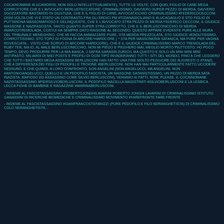COCAINOMANE #LUCAMORISI, NON SOLO INTELLETTUALMENTE), TUTTE LE VOLTE, CON QUEL FIGLIO DI CANE MEGA CORRUTTORE CHE E L'AVVOCATO BERLUSTECCATORE, CRIMINALISSIMO, DAVVERO SUPER PEZZO DI MERDA, DAVVERO SGOZZATORE BASTARDO DI GIUSTIZIA, CHE E IL FIGLIO DI CANE, AVVOCATICCHIO CRIMINALISSIMO #FEDERICOCECCONI. OGNI VOLTA CHE VI E STATO UN CONTRASTO FRA GLI EROICI PM #TIZIANASICILIANO E #LUCAGAGLIO E STO FIGLIO DI PUTTANONA MASSOMAFIOSO E DELINQUENTE, CHE E L'AVVOCATO STRA PEZZO DI MERDA FEDERICO CECCONI, IL GIUDICE MASSONE E NAZIFASCISTA, TANTO QUANTO SUPER STRA CORROTTO, CHE E IL BERLUSCONICCHIO DI MERDA #MARCOTREMOLADA, COSTUI HA SEMPRE DATO RAGIONE AL SECONDO. QUESTO APPARE EVIDENTE PURE ALLE MURA DEL TRIBUNALE MENEGHINO. CHE MI FACCIA AMMAZZARE PURE, STA MERDA PREZZOLATA, STO GIUDICE VENDUTISSIMO, CORROTTISSIMO, STO TOPO DI FOGNA DI ARCORE^HARDCORE ( ^ STA PER MASSONERIA SATANICA, MA PURE PER VAGINA ROVESCIATA... VISTO CHE SCRIVO DI ARCORE^HARDCORE), CHE E IL GIUDICE CRIMINALISSIMO MARCO TREMOLADA DEL RUBY TER, MA IO, AL MALE BERLUSCONICCHIO, NON MI PIEGO E PIEGHERO MAI, MEGLIO MORTO PIUTTOSTO. HO POCO TEMPO, DEVO PRODURRE PER LA MIA BANCA, J SAFRA SARASIN ZURICH, MA QUESTO E SOLO UN MINI MINI MINI ANTIPASTO. MILIARDI DI MIEI POSTS E PROFILI DI OGNI TIPO INVADERANNO TUTTI I SITI DEL MONDO, FINO A CHE LEGGERO CHE TUTTI I BASTARDI MEGA ASSASSINI BERLUSCONI HAN FATTO UNA FINE MOLTO PEGGIORE DEI #LIGRESTI O #TANZI, CHE A DIFFERENZA DEI FIGLI DI PEDOFILI E TROIONE #BERLUSCONI, NON HAN MAI PARTICOLARMENTE FATTO UCCIDERE NESSUNO, E CHE QUINDI, A LORO CONFRONTO, SON ANGELINI (NON ANGELUCCI, MA ANGELINI, NON #ANTONIOANGELUCCI, QUELLO E UN PEDOFILO FASCISTA, UN MASSONE SATANISTISSIMO, UN PEZZO DI MERDA SATA​INAZISTA, MAFIOSO ED ASSASSINO COME SILVIO BERLUSCONI). VENIAMO AI FATTI, NOW, PLEASE. IL COCAINOMANE NAZIST​ASSASSINO #PIERSILVIOBERLUSCONI, IL PEDOFILO MACELLA MAGISTRATI #SILVIOBERLUSCONI E LA LESBICA LECCA FIGHE DI BAMBINE E RAGAZZINE #MARINABERLUSCONI.
- INSIEME AL FASCISTASSASSINO #ROBERTOJONGHILAVARINI ROBERTO JONGHI LAVARINI DI CRIMINALISSIMO ISTITUTO GANASSINI DI RICERCHE BIOMEDICHE E CRIMINALISSIMO MOVIMENTO #FAREFRONTE FARE FRONTE
- INSIEME AL FASCISTASSASSINO #GIANFRANCOSTEFANIZZI (PURE PEDOFILO E FILO NDRANGHETI​STA) DI CRIMINALISSIMO...